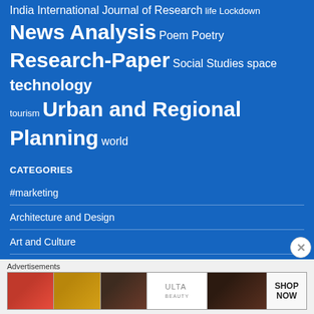India International Journal of Research life Lockdown News Analysis Poem Poetry Research-Paper Social Studies space technology tourism Urban and Regional Planning world
CATEGORIES
#marketing
Architecture and Design
Art and Culture
Book Reviews
Business and Management
[Figure (screenshot): Advertisements banner with ULTA beauty ad showing eye makeup, lips, brush and Shop Now call to action]